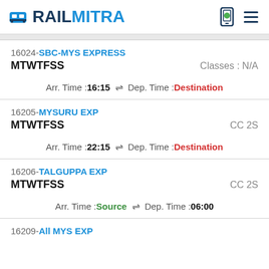RAILMITRA
16024-SBC-MYS EXPRESS | MTWTFSS | Classes : N/A | Arr. Time :16:15 ⇌ Dep. Time :Destination
16205-MYSURU EXP | MTWTFSS | CC 2S | Arr. Time :22:15 ⇌ Dep. Time :Destination
16206-TALGUPPA EXP | MTWTFSS | CC 2S | Arr. Time :Source ⇌ Dep. Time :06:00
16209-All MYS EXP